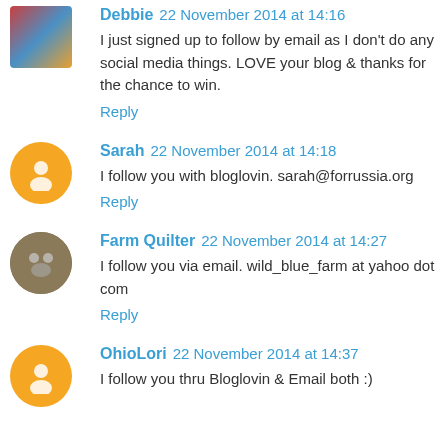Debbie 22 November 2014 at 14:16
I just signed up to follow by email as I don't do any social media things. LOVE your blog & thanks for the chance to win.
Reply
Sarah 22 November 2014 at 14:18
I follow you with bloglovin. sarah@forrussia.org
Reply
Farm Quilter 22 November 2014 at 14:27
I follow you via email. wild_blue_farm at yahoo dot com
Reply
OhioLori 22 November 2014 at 14:37
I follow you thru Bloglovin & Email both :)